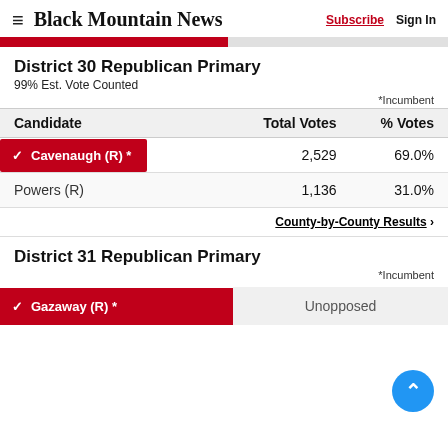Black Mountain News   Subscribe   Sign In
District 30 Republican Primary
99% Est. Vote Counted
*Incumbent
| Candidate | Total Votes | % Votes |
| --- | --- | --- |
| ✓ Cavenaugh (R) * | 2,529 | 69.0% |
| Powers (R) | 1,136 | 31.0% |
County-by-County Results ›
District 31 Republican Primary
*Incumbent
| Candidate | Total Votes | % Votes |
| --- | --- | --- |
| ✓ Gazaway (R) * | Unopposed |  |